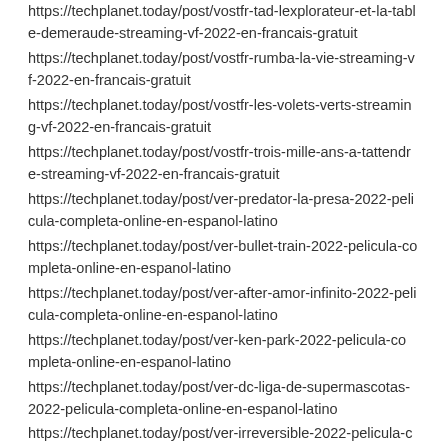https://techplanet.today/post/vostfr-tad-lexplorateur-et-la-table-demeraude-streaming-vf-2022-en-francais-gratuit
https://techplanet.today/post/vostfr-rumba-la-vie-streaming-vf-2022-en-francais-gratuit
https://techplanet.today/post/vostfr-les-volets-verts-streaming-vf-2022-en-francais-gratuit
https://techplanet.today/post/vostfr-trois-mille-ans-a-tattendre-streaming-vf-2022-en-francais-gratuit
https://techplanet.today/post/ver-predator-la-presa-2022-pelicula-completa-online-en-espanol-latino
https://techplanet.today/post/ver-bullet-train-2022-pelicula-completa-online-en-espanol-latino
https://techplanet.today/post/ver-after-amor-infinito-2022-pelicula-completa-online-en-espanol-latino
https://techplanet.today/post/ver-ken-park-2022-pelicula-completa-online-en-espanol-latino
https://techplanet.today/post/ver-dc-liga-de-supermascotas-2022-pelicula-completa-online-en-espanol-latino
https://techplanet.today/post/ver-irreversible-2022-pelicula-completa-online-en-espanol-latino